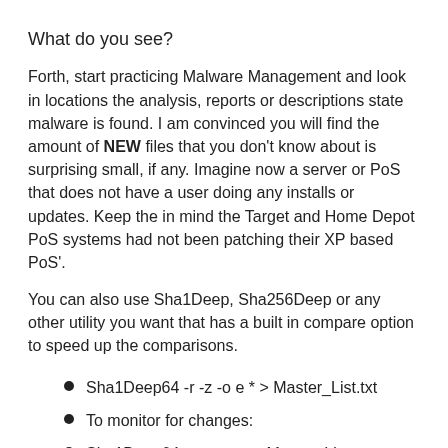What do you see?
Forth, start practicing Malware Management and look in locations the analysis, reports or descriptions state malware is found. I am convinced you will find the amount of NEW files that you don't know about is surprising small, if any. Imagine now a server or PoS that does not have a user doing any installs or updates. Keep the in mind the Target and Home Depot PoS systems had not been patching their XP based PoS'.
You can also use Sha1Deep, Sha256Deep or any other utility you want that has a built in compare option to speed up the comparisons.
Sha1Deep64 -r -z -o e * > Master_List.txt
To monitor for changes:
Sha1Deep64 -r -z -o e -x Master_List.txt
> Changes.txt